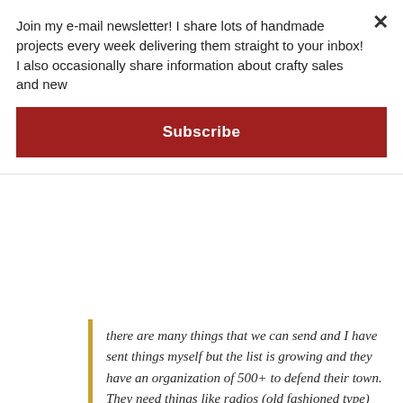Join my e-mail newsletter! I share lots of handmade projects every week delivering them straight to your inbox! I also occasionally share information about crafty sales and new
Subscribe
there are many things that we can send and I have sent things myself but the list is growing and they have an organization of 500+ to defend their town. They need things like radios (old fashioned type) with weather reports, walkie talkies, knee pads, eye protection, batteries, drones for observation and many, many other items. For the moment their group of 500+ is OK with food and water but we are planning dry goods in the future if this rages on those supply lines might be disrupted.